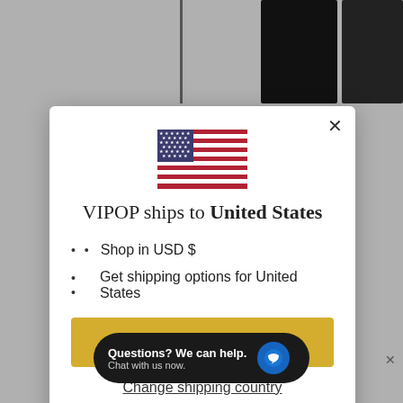[Figure (screenshot): Website screenshot showing a modal popup on a retail clothing website (VIPOP). Background shows gray overlay with product clothing images at top. Modal contains US flag, shipping information, shop now button, and change shipping country link. A chat widget appears at the bottom.]
VIPOP ships to United States
Shop in USD $
Get shipping options for United States
Shop now
Change shipping country
Questions? We can help. Chat with us now.